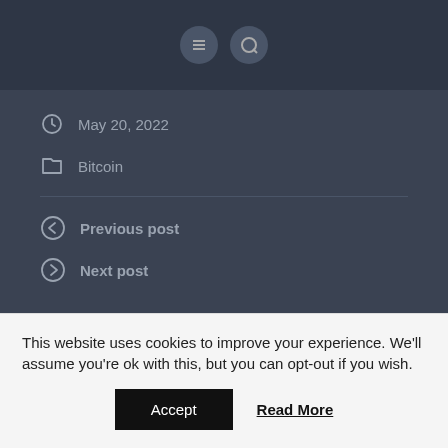[Figure (screenshot): Top dark bar with two circular icon buttons]
May 20, 2022
Bitcoin
Previous post
Next post
Leave a Reply
Your email address will not be published.
This website uses cookies to improve your experience. We'll assume you're ok with this, but you can opt-out if you wish.
Accept
Read More